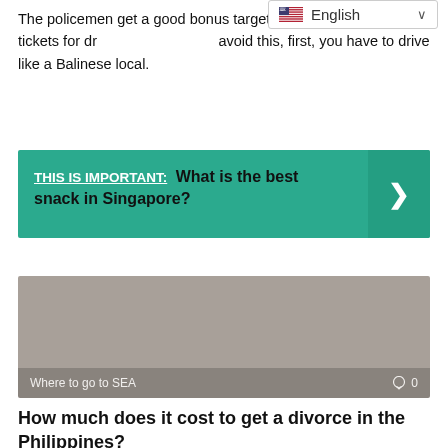The policemen get a good bonus targeting tourists and issuing tickets for driving violations. To avoid this, first, you have to drive like a Balinese local.
[Figure (screenshot): English language dropdown selector with US flag icon and chevron]
THIS IS IMPORTANT: What is the best snack in Singapore?
[Figure (photo): Gray placeholder image with overlay text 'Where to go to SEA' and comment count '0']
How much does it cost to get a divorce in the Philippines?
The process can take anywhere from 1 to 10 years to wind